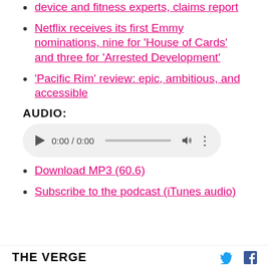device and fitness experts, claims report
Netflix receives its first Emmy nominations, nine for 'House of Cards' and three for 'Arrested Development'
'Pacific Rim' review: epic, ambitious, and accessible
AUDIO:
[Figure (other): HTML5 audio player showing 0:00 / 0:00 with play button, progress bar, volume and more options]
Download MP3 (60.6)
Subscribe to the podcast (iTunes audio)
THE VERGE